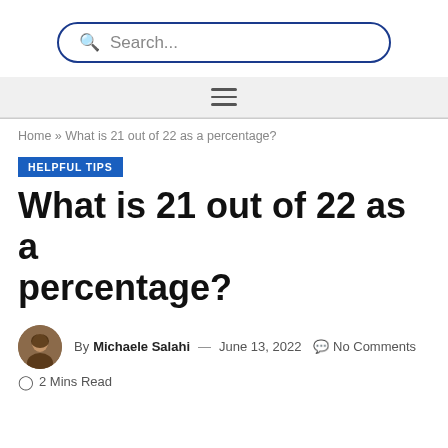Search...
Home » What is 21 out of 22 as a percentage?
HELPFUL TIPS
What is 21 out of 22 as a percentage?
By Michaele Salahi — June 13, 2022  No Comments  2 Mins Read